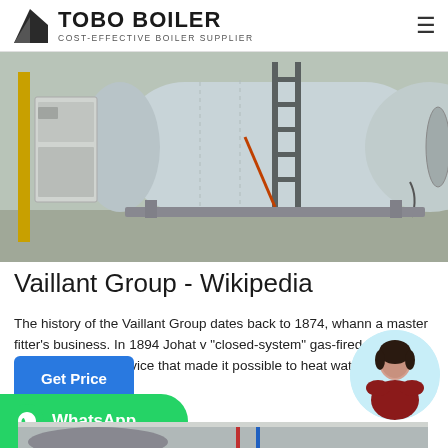TOBO BOILER — COST-EFFECTIVE BOILER SUPPLIER
[Figure (photo): Industrial boiler equipment in a facility — large horizontal cylindrical boiler tank in light blue/grey, with control panels, ladder, and piping visible.]
Vaillant Group - Wikipedia
The history of the Vaillant Group dates back to 1874, wh...ann a master fitter's business. In 1894 Joha...t v "closed-system" gas-fired bathroom bo...s was the first device that made it possible to heat water hygienical...
[Figure (photo): Interior photo showing pipes and boiler equipment — red and blue pipes visible against a light ceiling.]